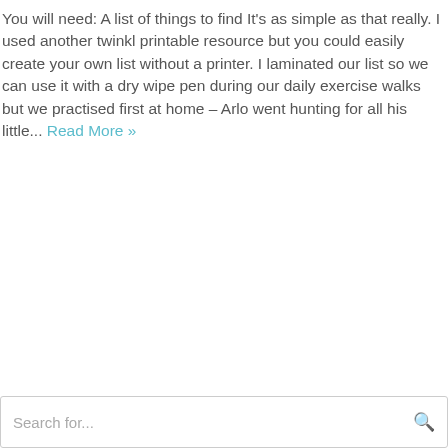You will need: A list of things to find It's as simple as that really. I used another twinkl printable resource but you could easily create your own list without a printer. I laminated our list so we can use it with a dry wipe pen during our daily exercise walks but we practised first at home – Arlo went hunting for all his little... Read More »
Search for...